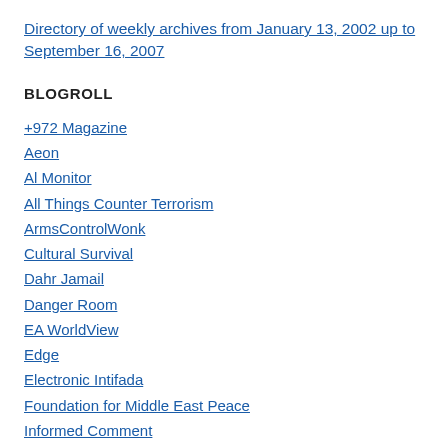Directory of weekly archives from January 13, 2002 up to September 16, 2007
BLOGROLL
+972 Magazine
Aeon
Al Monitor
All Things Counter Terrorism
ArmsControlWonk
Cultural Survival
Dahr Jamail
Danger Room
EA WorldView
Edge
Electronic Intifada
Foundation for Middle East Peace
Informed Comment